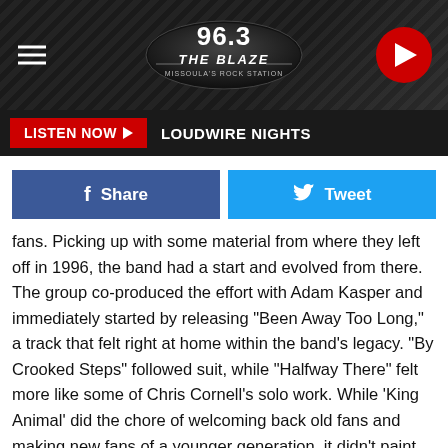[Figure (logo): 96.3 The Blaze Missoula's Rock Station radio station header with logo, hamburger menu, and play button]
LISTEN NOW ▶  LOUDWIRE NIGHTS
Share
Tweet
fans. Picking up with some material from where they left off in 1996, the band had a start and evolved from there. The group co-produced the effort with Adam Kasper and immediately started by releasing "Been Away Too Long," a track that felt right at home within the band's legacy. "By Crooked Steps" followed suit, while "Halfway There" felt more like some of Chris Cornell's solo work. While 'King Animal' did the chore of welcoming back old fans and making new fans of a younger generation, it didn't paint too far out of the box, something that may come with their next album after re-establishing themselves.